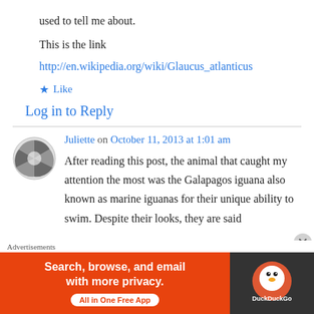used to tell me about.
This is the link
http://en.wikipedia.org/wiki/Glaucus_atlanticus
★ Like
Log in to Reply
Juliette on October 11, 2013 at 1:01 am
After reading this post, the animal that caught my attention the most was the Galapagos iguana also known as marine iguanas for their unique ability to swim. Despite their looks, they are said
Advertisements
[Figure (screenshot): DuckDuckGo advertisement banner: orange left side with text 'Search, browse, and email with more privacy. All in One Free App' and dark right side with DuckDuckGo logo]